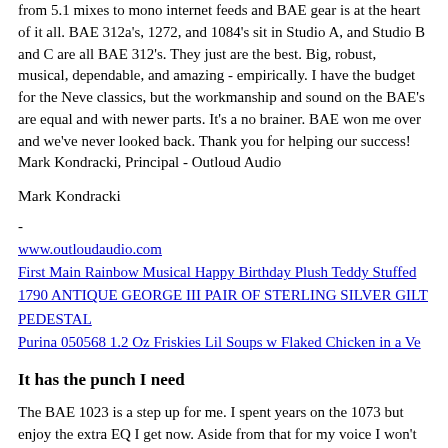from 5.1 mixes to mono internet feeds and BAE gear is at the heart of it all. BAE 312a's, 1272, and 1084's sit in Studio A, and Studio B and C are all BAE 312's. They just are the best. Big, robust, musical, dependable, and amazing - empirically. I have the budget for the Neve classics, but the workmanship and sound on the BAE's are equal and with newer parts. It's a no brainer. BAE won me over and we've never looked back. Thank you for helping our success! Mark Kondracki, Principal - Outloud Audio
Mark Kondracki
-
www.outloudaudio.com
First Main Rainbow Musical Happy Birthday Plush Teddy Stuffed
1790 ANTIQUE GEORGE III PAIR OF STERLING SILVER GILT PEDESTAL
Purina 050568 1.2 Oz Friskies Lil Soups w Flaked Chicken in a Ve
It has the punch I need
The BAE 1023 is a step up for me. I spent years on the 1073 but enjoy the extra EQ I get now. Aside from that for my voice I won't go through anything else. It is a must in my chain no matter where I am. As a bonus I got the 312 and I am running guitars and my keys through it. Hands down a new dimension is added to tracking